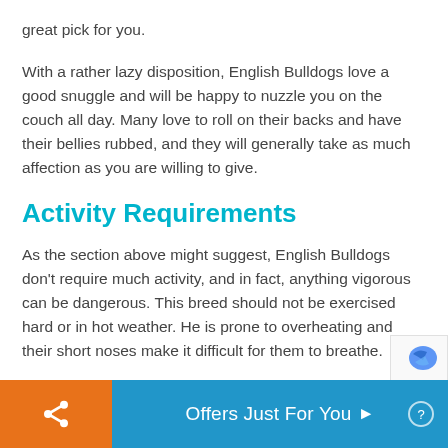great pick for you.
With a rather lazy disposition, English Bulldogs love a good snuggle and will be happy to nuzzle you on the couch all day. Many love to roll on their backs and have their bellies rubbed, and they will generally take as much affection as you are willing to give.
Activity Requirements
As the section above might suggest, English Bulldogs don't require much activity, and in fact, anything vigorous can be dangerous. This breed should not be exercised hard or in hot weather. He is prone to overheating and their short noses make it difficult for them to breathe.
Offers Just For You